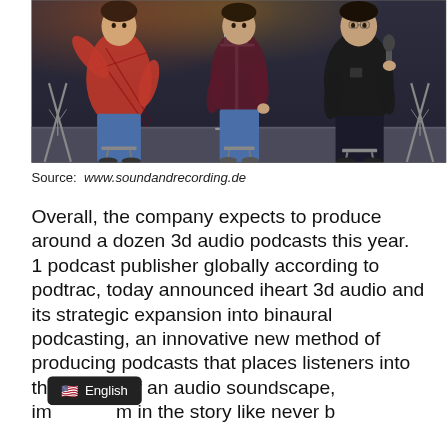[Figure (photo): Three people sitting on stools on a stage, having a panel discussion. One person on the left wearing a red plaid shirt with arm raised, one in the middle wearing a dark top, and one on the right wearing a black t-shirt holding a microphone. There is a high table with water bottles between them.]
Source: www.soundandrecording.de
Overall, the company expects to produce around a dozen 3d audio podcasts this year. 1 podcast publisher globally according to podtrac, today announced iheart 3d audio and its strategic expansion into binaural podcasting, an innovative new method of producing podcasts that places listeners into the middle of an audio soundscape, im in the story like never b